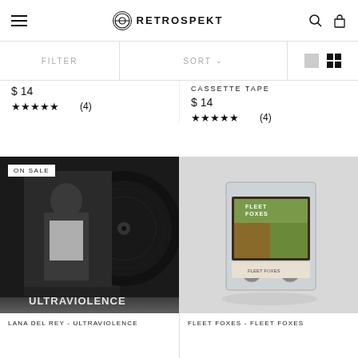RETROSPEKT
FILTER
SORT
$ 14
★★★★★ (4)
CASSETTE TAPE
$ 14
★★★★★ (4)
[Figure (photo): Lana Del Rey - Ultraviolence vinyl record with ON SALE badge]
[Figure (photo): Fleet Foxes - Fleet Foxes cassette tape]
LANA DEL REY - ULTRAVIOLENCE
FLEET FOXES - FLEET FOXES